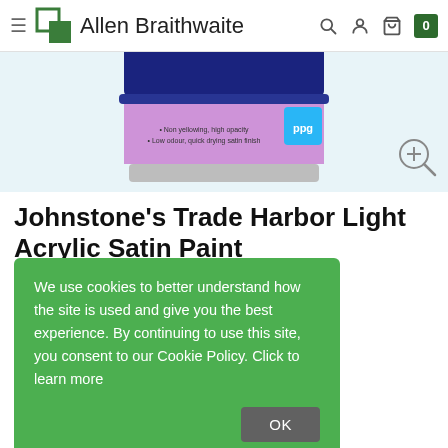Allen Braithwaite
[Figure (photo): Partial view of a Johnstone's Trade Harbor Light Acrylic Satin Paint can on a light blue background, with a zoom/magnify icon in the bottom right corner.]
Johnstone's Trade Harbor Light Acrylic Satin Paint
We use cookies to better understand how the site is used and give you the best experience. By continuing to use this site, you consent to our Cookie Policy. Click to learn more